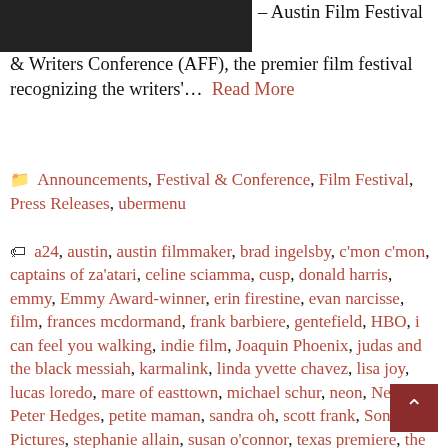[Figure (photo): Dark/black rectangular image in upper-left corner, partially cropped]
– Austin Film Festival & Writers Conference (AFF), the premier film festival recognizing the writers'… Read More
Categories: Announcements, Festival & Conference, Film Festival, Press Releases, ubermenu
a24, austin, austin filmmaker, brad ingelsby, c'mon c'mon, captains of za'atari, celine sciamma, cusp, donald harris, emmy, Emmy Award-winner, erin firestine, evan narcisse, film, frances mcdormand, frank barbiere, gentefield, HBO, i can feel you walking, indie film, Joaquin Phoenix, judas and the black messiah, karmalink, linda yvette chavez, lisa joy, lucas loredo, mare of easttown, michael schur, neon, Netflix, Peter Hedges, petite maman, sandra oh, scott frank, Sony Pictures, stephanie allain, susan o'connor, texas premiere, the french dispatch, the grand bolero, the one you're with, the same storm, the souvenir part II, the time of the fireflies, the worst person in the world, tilda swinton, timothee chalamet, torao, university of texas, University of Texas Press, video game writing,